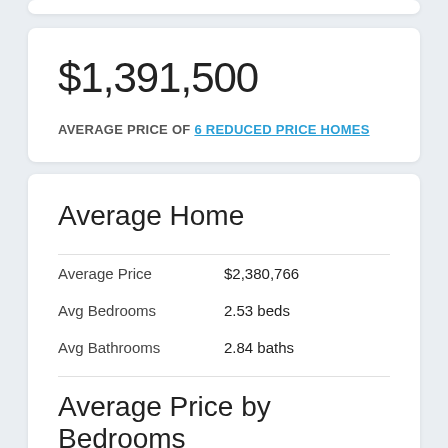$1,391,500
AVERAGE PRICE OF 6 REDUCED PRICE HOMES
Average Home
|  |  |
| --- | --- |
| Average Price | $2,380,766 |
| Avg Bedrooms | 2.53 beds |
| Avg Bathrooms | 2.84 baths |
Average Price by Bedrooms